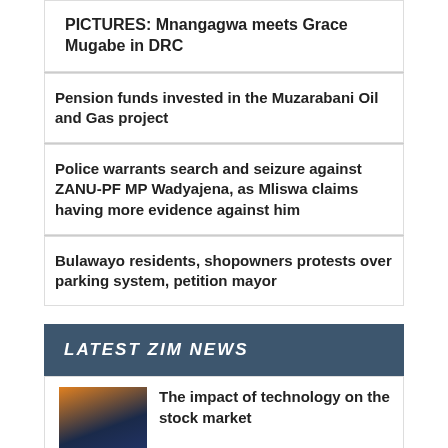PICTURES: Mnangagwa meets Grace Mugabe in DRC
Pension funds invested in the Muzarabani Oil and Gas project
Police warrants search and seizure against ZANU-PF MP Wadyajena, as Mliswa claims having more evidence against him
Bulawayo residents, shopowners protests over parking system, petition mayor
LATEST ZIM NEWS
The impact of technology on the stock market
I will never sit on same table with oppressors, Zambian politician 'turns down